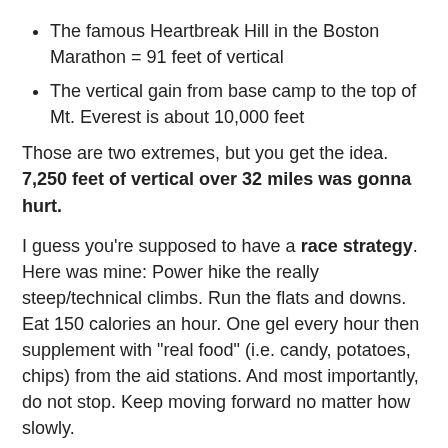The famous Heartbreak Hill in the Boston Marathon = 91 feet of vertical
The vertical gain from base camp to the top of Mt. Everest is about 10,000 feet
Those are two extremes, but you get the idea. 7,250 feet of vertical over 32 miles was gonna hurt.
I guess you're supposed to have a race strategy. Here was mine: Power hike the really steep/technical climbs. Run the flats and downs. Eat 150 calories an hour. One gel every hour then supplement with "real food" (i.e. candy, potatoes, chips) from the aid stations. And most importantly, do not stop. Keep moving forward no matter how slowly.
Mentally, I broke the race down by aid stations: Mile 5, Mile 12, Mile 17, Mile 24, Mile 29.
It's 39 degrees at the start. Being cold is my least favorite feeling after being nauseous (foreshadow) and needing to